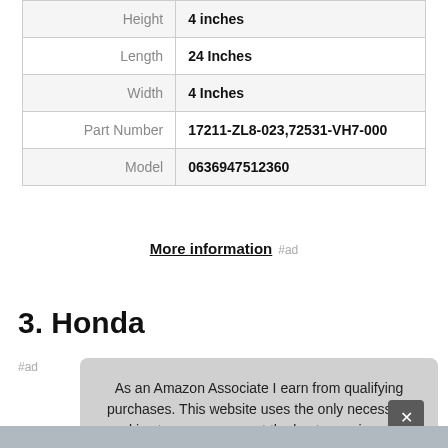| Height | 4 inches |
| Length | 24 Inches |
| Width | 4 Inches |
| Part Number | 17211-ZL8-023,72531-VH7-000 |
| Model | 0636947512360 |
More information #ad
3. Honda
#ad
As an Amazon Associate I earn from qualifying purchases. This website uses the only necessary cookies to ensure you get the best experience on our website. More information